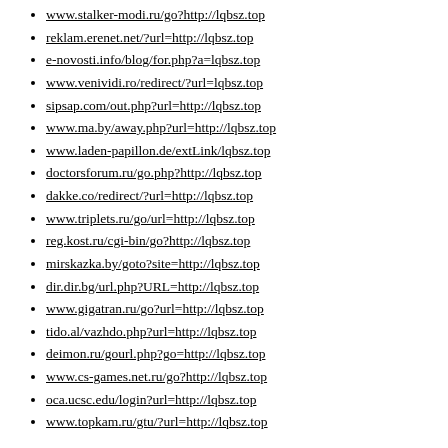www.stalker-modi.ru/go?http://lqbsz.top
reklam.erenet.net/?url=http://lqbsz.top
e-novosti.info/blog/for.php?a=lqbsz.top
www.venividi.ro/redirect/?url=lqbsz.top
sipsap.com/out.php?url=http://lqbsz.top
www.ma.by/away.php?url=http://lqbsz.top
www.laden-papillon.de/extLink/lqbsz.top
doctorsforum.ru/go.php?http://lqbsz.top
dakke.co/redirect/?url=http://lqbsz.top
www.triplets.ru/go/url=http://lqbsz.top
reg.kost.ru/cgi-bin/go?http://lqbsz.top
mirskazka.by/goto?site=http://lqbsz.top
dir.dir.bg/url.php?URL=http://lqbsz.top
www.gigatran.ru/go?url=http://lqbsz.top
tido.al/vazhdo.php?url=http://lqbsz.top
deimon.ru/gourl.php?go=http://lqbsz.top
www.cs-games.net.ru/go?http://lqbsz.top
oca.ucsc.edu/login?url=http://lqbsz.top
www.topkam.ru/gtu/?url=http://lqbsz.top